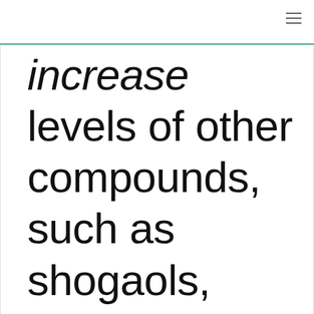increase levels of other compounds, such as shogaols, which appear to have impressive medicinal